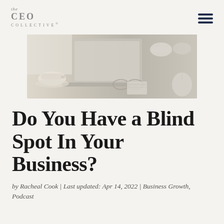the CEO COLLECTIVE®
[Figure (photo): Blurred/soft-focus photo of a laptop, teacup and saucer, glasses, and a notebook on a light-colored desk surface with a white mouse visible at right edge.]
Do You Have a Blind Spot In Your Business?
by Racheal Cook | Last updated: Apr 14, 2022 | Business Growth, Podcast